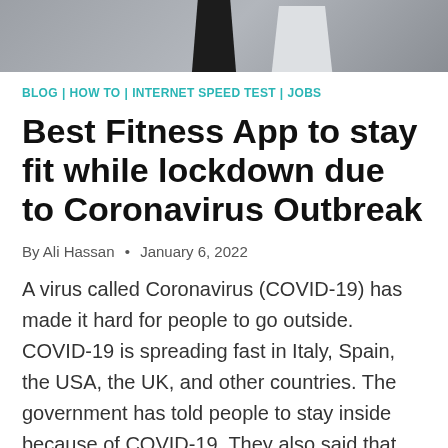[Figure (photo): Cropped photo showing two people, one in dark clothing and one in light clothing, likely in a fitness or health context]
BLOG | HOW TO | INTERNET SPEED TEST | JOBS
Best Fitness App to stay fit while lockdown due to Coronavirus Outbreak
By Ali Hassan • January 6, 2022
A virus called Coronavirus (COVID-19) has made it hard for people to go outside. COVID-19 is spreading fast in Italy, Spain, the USA, the UK, and other countries. The government has told people to stay inside because of COVID-19. They also said that they will keep us safe. But some people are not happy